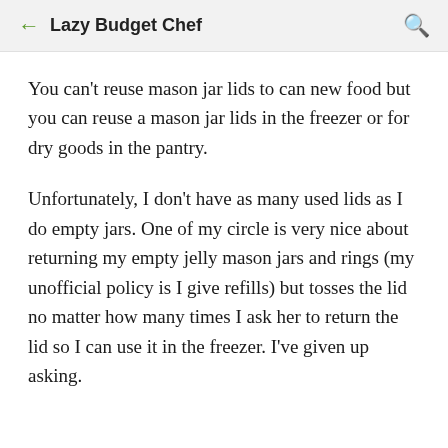Lazy Budget Chef
You can't reuse mason jar lids to can new food but you can reuse a mason jar lids in the freezer or for dry goods in the pantry.
Unfortunately, I don't have as many used lids as I do empty jars. One of my circle is very nice about returning my empty jelly mason jars and rings (my unofficial policy is I give refills) but tosses the lid no matter how many times I ask her to return the lid so I can use it in the freezer. I've given up asking.